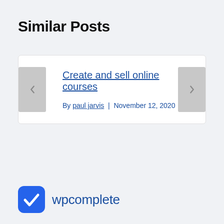Similar Posts
Create and sell online courses
By paul jarvis | November 12, 2020
[Figure (logo): wpcomplete logo: blue rounded square with white checkmark, followed by text 'wpcomplete' in blue]